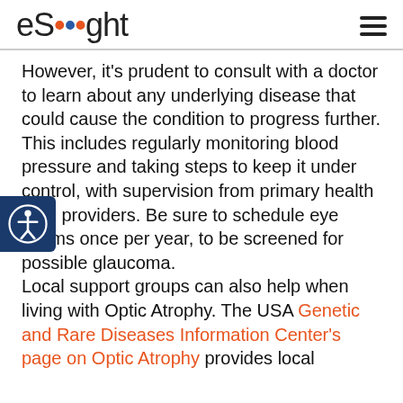eSight
However, it's prudent to consult with a doctor to learn about any underlying disease that could cause the condition to progress further. This includes regularly monitoring blood pressure and taking steps to keep it under control, with supervision from primary health care providers. Be sure to schedule eye exams once per year, to be screened for possible glaucoma. Local support groups can also help when living with Optic Atrophy. The USA Genetic and Rare Diseases Information Center's page on Optic Atrophy provides local